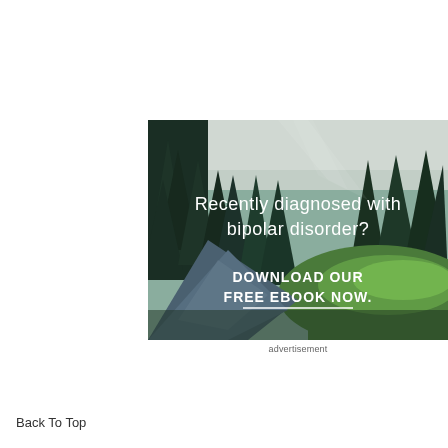[Figure (photo): Advertisement image showing a forest river scene with text overlay: 'Recently diagnosed with bipolar disorder? DOWNLOAD OUR FREE EBOOK NOW.' over a nature background of pine trees, river, and green meadow.]
advertisement
Back To Top